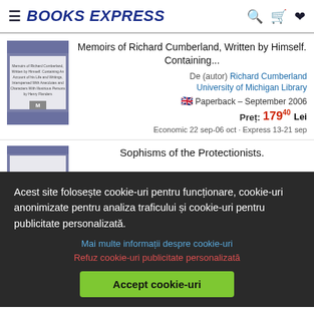BOOKS EXPRESS
Memoirs of Richard Cumberland, Written by Himself. Containing...
De (autor) Richard Cumberland
University of Michigan Library
Paperback – September 2006
Preț: 179.40 Lei
Economic 22 sep-06 oct · Express 13-21 sep
Sophisms of the Protectionists.
Acest site folosește cookie-uri pentru funcționare, cookie-uri anonimizate pentru analiza traficului și cookie-uri pentru publicitate personalizată.
Mai multe informații despre cookie-uri
Refuz cookie-uri publicitate personalizată
Accept cookie-uri